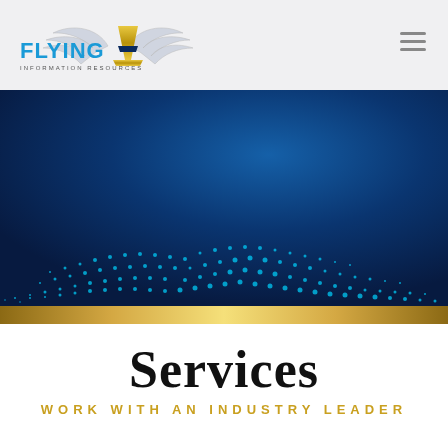[Figure (logo): Flying A Information Resources logo with winged letter A in gold and blue text]
[Figure (illustration): Dark blue hero banner with cyan/teal dot wave pattern forming a sweeping arc across a deep blue background]
Services
WORK WITH AN INDUSTRY LEADER